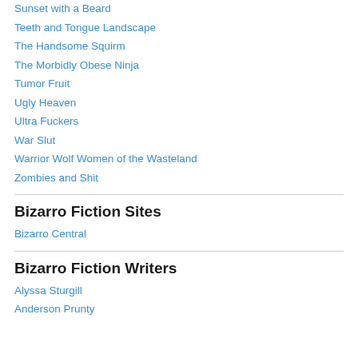Sunset with a Beard
Teeth and Tongue Landscape
The Handsome Squirm
The Morbidly Obese Ninja
Tumor Fruit
Ugly Heaven
Ultra Fuckers
War Slut
Warrior Wolf Women of the Wasteland
Zombies and Shit
Bizarro Fiction Sites
Bizarro Central
Bizarro Fiction Writers
Alyssa Sturgill
Anderson Prunty